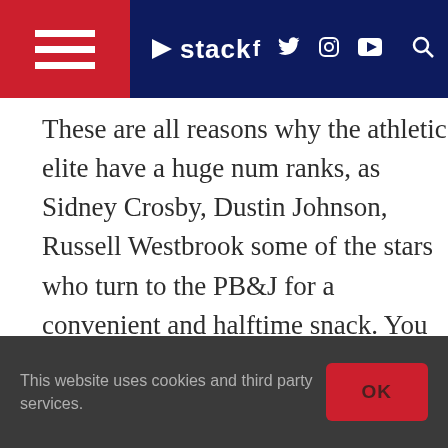stack — navigation bar with hamburger menu, logo, social icons (f, twitter, instagram, youtube) and search
These are all reasons why the athletic elite have a huge num ranks, as Sidney Crosby, Dustin Johnson, Russell Westbrook some of the stars who turn to the PB&J for a convenient and halftime snack. You can read our deep dive on the topic here
This website uses cookies and third party services.
OK